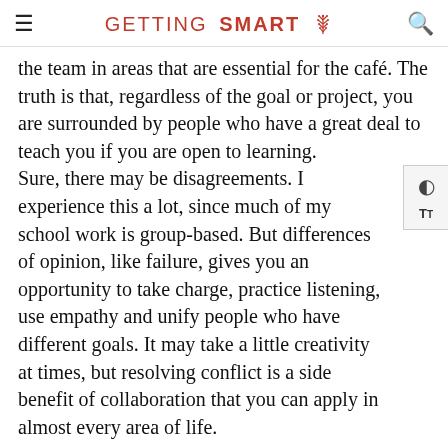GETTING SMART
the team in areas that are essential for the café. The truth is that, regardless of the goal or project, you are surrounded by people who have a great deal to teach you if you are open to learning.
Sure, there may be disagreements. I experience this a lot, since much of my school work is group-based. But differences of opinion, like failure, gives you an opportunity to take charge, practice listening, use empathy and unify people who have different goals. It may take a little creativity at times, but resolving conflict is a side benefit of collaboration that you can apply in almost every area of life.
Cooperation Relationships att...